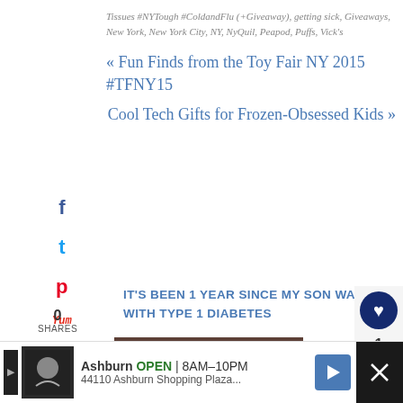Tissues #NYTough #ColdandFlu (+Giveaway), getting sick, Giveaways, New York, New York City, NY, NyQuil, Peapod, Puffs, Vick's
« Fun Finds from the Toy Fair NY 2015 #TFNY15
Cool Tech Gifts for Frozen-Obsessed Kids »
IT'S BEEN 1 YEAR SINCE MY SON WAS DIAGNOSED WITH TYPE 1 DIABETES
[Figure (photo): Photo of summer camp items including flip flops, sunglasses, and labeled items with camp theme]
[Figure (photo): Photo of a person]
0 SHARES
Ashburn OPEN 8AM–10PM 44110 Ashburn Shopping Plaza...